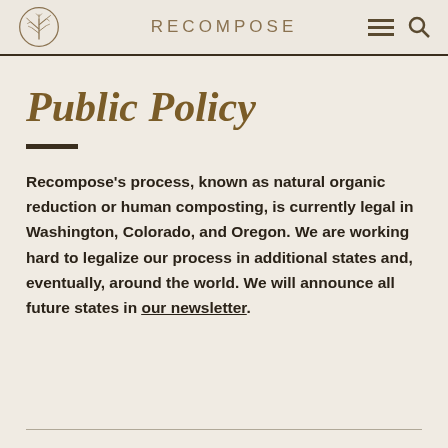RECOMPOSE
Public Policy
Recompose’s process, known as natural organic reduction or human composting, is currently legal in Washington, Colorado, and Oregon. We are working hard to legalize our process in additional states and, eventually, around the world. We will announce all future states in our newsletter.